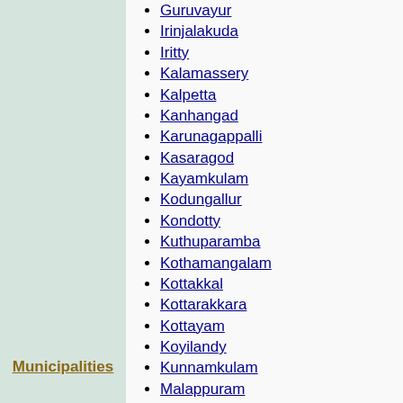Guruvayur
Irinjalakuda
Iritty
Kalamassery
Kalpetta
Kanhangad
Karunagappalli
Kasaragod
Kayamkulam
Kodungallur
Kondotty
Kuthuparamba
Kothamangalam
Kottakkal
Kottarakkara
Kottayam
Koyilandy
Kunnamkulam
Malappuram
Manjeri
Maradu
Mattanur
Mavelikkara
Muvattupuzha
Nedumangad
Municipalities